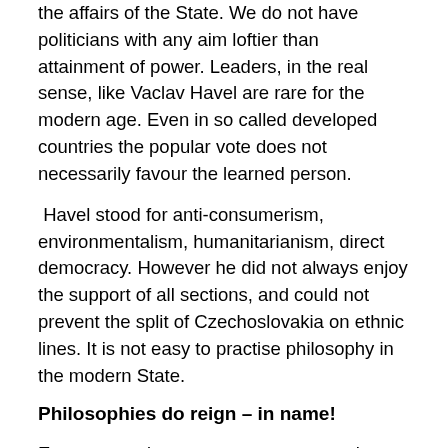the affairs of the State. We do not have politicians with any aim loftier than attainment of power. Leaders, in the real sense, like Vaclav Havel are rare for the modern age. Even in so called developed countries the popular vote does not necessarily favour the learned person.
Havel stood for anti-consumerism, environmentalism, humanitarianism, direct democracy. However he did not always enjoy the support of all sections, and could not prevent the split of Czechoslovakia on ethnic lines. It is not easy to practise philosophy in the modern State.
Philosophies do reign – in name!
Even so, modern governments cannot be said to be lacking in 'philosophy' of some sort, entirely. Most politicians declare their allegiance to some aims or ideals like communism, socialism, market economy, welfare